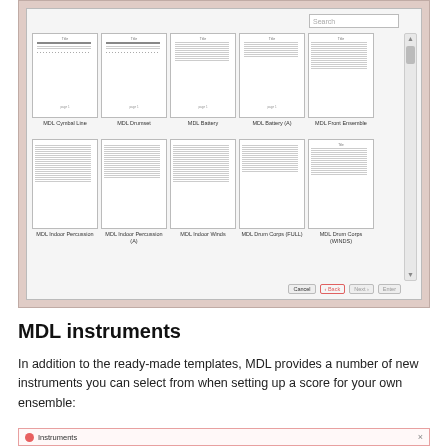[Figure (screenshot): A dialog box showing MDL template thumbnails in a grid: Row 1: MDL Cymbal Line, MDL Drumset, MDL Battery, MDL Battery (A), MDL Front Ensemble. Row 2: MDL Indoor Percussion, MDL Indoor Percussion (A), MDL Indoor Winds, MDL Drum Corps (FULL), MDL Drum Corps (WINDS). Has a Search field, scrollbar, Cancel/Back/Next/Enter buttons at bottom.]
MDL instruments
In addition to the ready-made templates, MDL provides a number of new instruments you can select from when setting up a score for your own ensemble:
[Figure (screenshot): Bottom of an Instruments panel with a pink/red border, showing an icon and the label 'Instruments' with an X close button.]